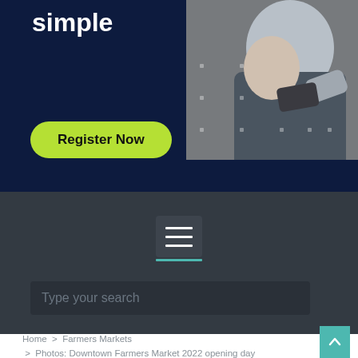simple
[Figure (screenshot): Hero banner with dark navy background, a person photo on the right, decorative dots, bold white text 'simple', and a lime green 'Register Now' button]
[Figure (screenshot): Dark navigation overlay showing a hamburger menu icon with teal underline and a search bar with placeholder 'Type your search']
Type your search
Home > Farmers Markets > Photos: Downtown Farmers Market 2022 opening day